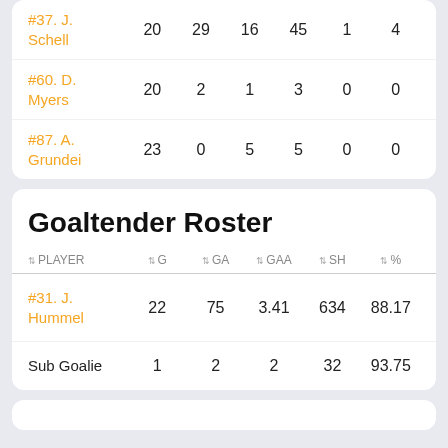| PLAYER | G | A | PTS | PIM | +/- | PP |
| --- | --- | --- | --- | --- | --- | --- |
| #37. J. Schell | 20 | 29 | 16 | 45 | 1 | 4 |
| #60. D. Myers | 20 | 2 | 1 | 3 | 0 | 0 |
| #87. A. Grundei | 23 | 0 | 5 | 5 | 0 | 0 |
Goaltender Roster
| PLAYER | G | GA | GAA | SH | % |
| --- | --- | --- | --- | --- | --- |
| #31. J. Hummel | 22 | 75 | 3.41 | 634 | 88.17 |
| Sub Goalie | 1 | 2 | 2 | 32 | 93.75 |